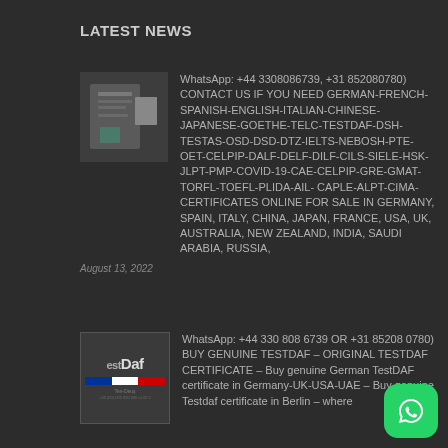LATEST NEWS
[Figure (photo): Thumbnail image of documents/certificates on a table]
WhatsApp: +44 3308086739, +31 852080780) CONTACT US IF YOU NEED GERMAN-FRENCH-SPANISH-ENGLISH-ITALIAN-CHINESE-JAPANESE-GOETHE-TELC-TESTDAF-DSH-TESTAS-OSD-DSD-DTZ-IELTS-NEBOSH-PTE-OET-CELPIP-DALF-DELF-DILF-CILS-SIELE-HSK-JLPT-PMP-COVID-19-CAE-CELPIP-GRE-GMAT- TORFL-TOEFL-PLIDA-AIL- CAPLE-ALPT-CIMA-CERTIFICATES ONLINE FOR SALE IN GERMANY, SPAIN, ITALY, CHINA, JAPAN, FRANCE, USA, UK, AUSTRALIA, NEW ZEALAND, INDIA, SAUDI ARABIA, RUSSIA,
August 13, 2022
[Figure (logo): EstDaF logo with French flag colors]
WhatsApp: +44 330 808 6739 OR +31 85208 0780) BUY GENUINE TESTDAF – ORIGINAL TESTDAF CERTIFICATE – Buy genuine German TestDAF certificate in Germany-UK-USA-UAE – Buy genuine Testdaf certificate in Berlin – where
[Figure (logo): WhatsApp green button icon]